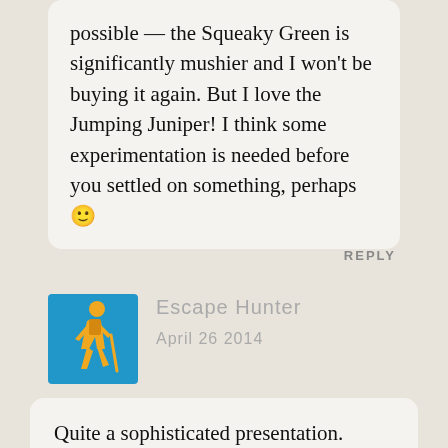possible — the Squeaky Green is significantly mushier and I won't be buying it again. But I love the Jumping Juniper! I think some experimentation is needed before you settled on something, perhaps 🙂
REPLY
[Figure (illustration): Blue square avatar icon with a yellow walking hiker figure silhouette]
Escape Hunter
April 26 2014
Quite a sophisticated presentation.
Hmm... I'm still over-packing most of the time, I just can't leave my gadgets home!